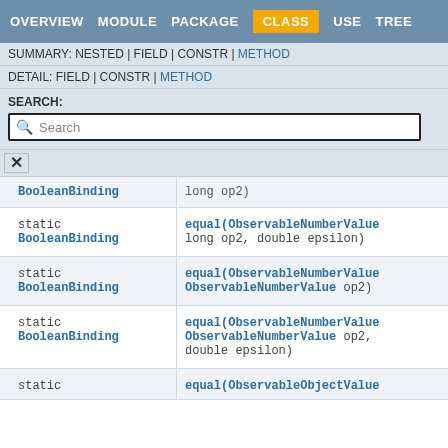OVERVIEW  MODULE  PACKAGE  CLASS  USE  TREE
SUMMARY: NESTED | FIELD | CONSTR | METHOD
DETAIL: FIELD | CONSTR | METHOD
SEARCH:
Search
| Modifier and Type | Method |
| --- | --- |
| BooleanBinding | long op2) |
| static
BooleanBinding | equal(ObservableNumberValue
long op2, double epsilon) |
| static
BooleanBinding | equal(ObservableNumberValue
ObservableNumberValue op2) |
| static
BooleanBinding | equal(ObservableNumberValue
ObservableNumberValue op2,
double epsilon) |
| static | equal(ObservableObjectValue |